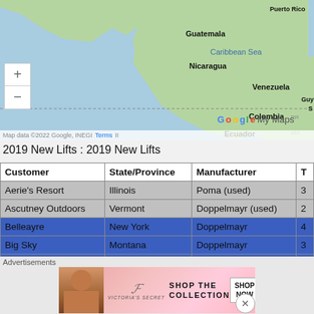[Figure (map): Google My Maps showing Central America and northern South America, including Guatemala, Nicaragua, Venezuela, Colombia, Ecuador, Puerto Rico, Caribbean Sea labels. Has zoom +/- controls and map attribution.]
2019 New Lifts : 2019 New Lifts
| Customer | State/Province | Manufacturer | T |
| --- | --- | --- | --- |
| Aerie's Resort | Illinois | Poma (used) | 3 |
| Ascutney Outdoors | Vermont | Doppelmayr (used) | 2 |
| Belleayre | New York | Doppelmayr | 4 |
| Big Sky | Montana | Doppelmayr | 3 |
| Big Sky | Montana | Doppelmayr | 3 |
| Bogus Basin | Idaho | Doppelmayr |  |
Advertisements
[Figure (photo): Victoria's Secret advertisement banner with model and text: SHOP THE COLLECTION, SHOP NOW button.]